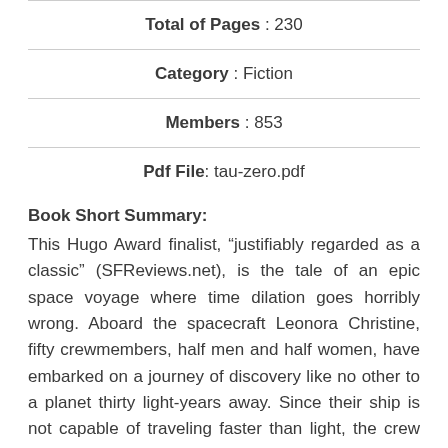Total of Pages : 230
Category : Fiction
Members : 853
Pdf File: tau-zero.pdf
Book Short Summary:
This Hugo Award finalist, “justifiably regarded as a classic” (SFReviews.net), is the tale of an epic space voyage where time dilation goes horribly wrong. Aboard the spacecraft Leonora Christine, fifty crewmembers, half men and half women, have embarked on a journey of discovery like no other to a planet thirty light-years away. Since their ship is not capable of traveling faster than light, the crew will be